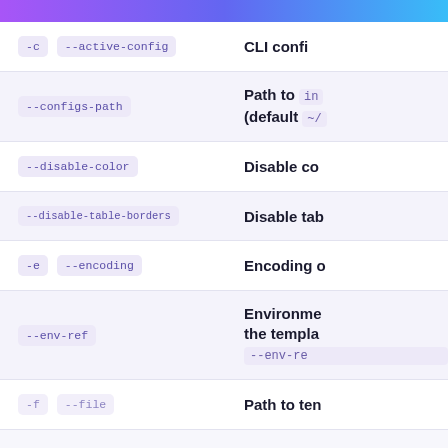| Short | Long flag | Description |
| --- | --- | --- |
| -c | --active-config | CLI confi... |
|  | --configs-path | Path to in... (default ~/... |
|  | --disable-color | Disable co... |
|  | --disable-table-borders | Disable tab... |
| -e | --encoding | Encoding o... |
|  | --env-ref | Environme... the templa... --env-re... |
|  | --file | Path to ten... |